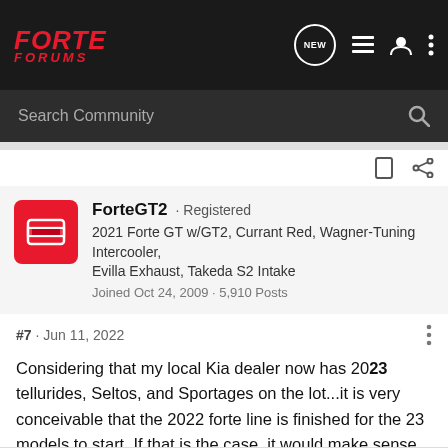FORTE FORUMS
Search Community
ForteGT2 · Registered
2021 Forte GT w/GT2, Currant Red, Wagner-Tuning Intercooler, Evilla Exhaust, Takeda S2 Intake
Joined Oct 24, 2009 · 5,910 Posts
#7 · Jun 11, 2022
Considering that my local Kia dealer now has 2023 tellurides, Seltos, and Sportages on the lot...it is very conceivable that the 2022 forte line is finished for the 23 models to start. If that is the case, it would make sense to cancel orders for 2022 models.